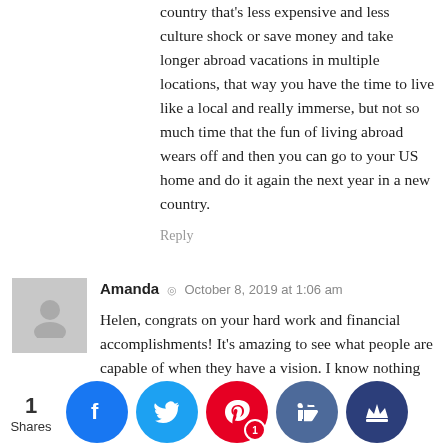country that's less expensive and less culture shock or save money and take longer abroad vacations in multiple locations, that way you have the time to live like a local and really immerse, but not so much time that the fun of living abroad wears off and then you can go to your US home and do it again the next year in a new country.
Reply
Amanda · October 8, 2019 at 1:06 am
Helen, congrats on your hard work and financial accomplishments! It's amazing to see what people are capable of when they have a vision. I know nothing about Japan, or being an ex-pat, but I know what it's like to lose excitement for your job and want to run away from it. Not working might sound good now, but from my own experience with my husband's job transfers and shifting from breadwinner to housewife, I struggled enormously. Maybe that's not the case for you. Regardless of what happens, I encourage you to find joy in your work while you're still there. You deserve that.
[Figure (infographic): Social sharing bar with Facebook, Twitter, Pinterest, thumbs-up, and crown icon buttons. Shows 1 Share count.]